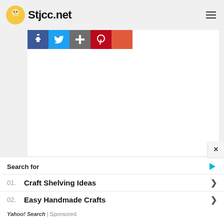Stjcc.net
[Figure (screenshot): Social share buttons strip: Facebook (blue), Twitter (blue), a share/add button (dark gray), Pinterest (red), and another red button, partially cropped at the top of the content area]
[Figure (screenshot): Large white content area, blank, taking up most of the visible page]
×
Search for
01. Craft Shelving Ideas
02. Easy Handmade Crafts
Yahoo! Search | Sponsored